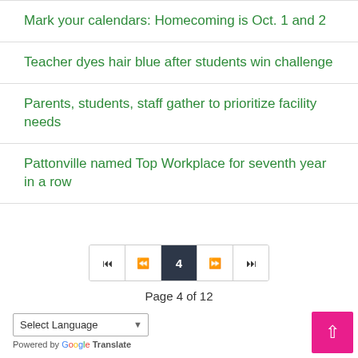Mark your calendars: Homecoming is Oct. 1 and 2
Teacher dyes hair blue after students win challenge
Parents, students, staff gather to prioritize facility needs
Pattonville named Top Workplace for seventh year in a row
Page 4 of 12
Select Language | Powered by Google Translate